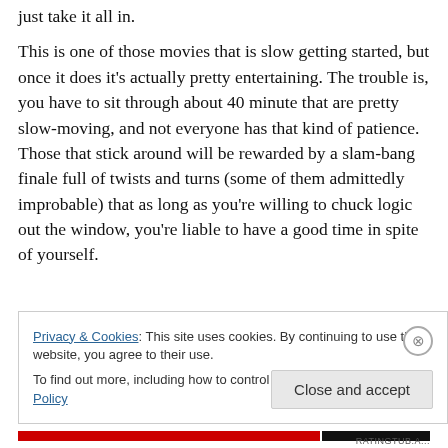just take it all in.
This is one of those movies that is slow getting started, but once it does it's actually pretty entertaining. The trouble is, you have to sit through about 40 minute that are pretty slow-moving, and not everyone has that kind of patience. Those that stick around will be rewarded by a slam-bang finale full of twists and turns (some of them admittedly improbable) that as long as you're willing to chuck logic out the window, you're liable to have a good time in spite of yourself.
Privacy & Cookies: This site uses cookies. By continuing to use this website, you agree to their use. To find out more, including how to control cookies, see here: Cookie Policy